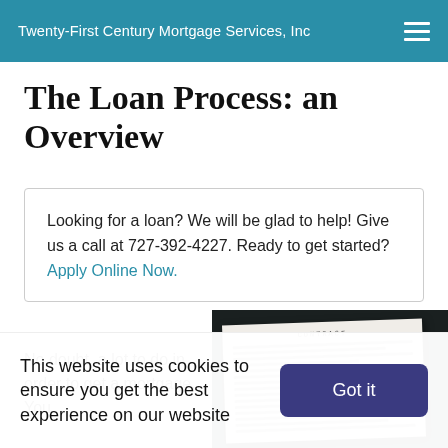Twenty-First Century Mortgage Services, Inc
The Loan Process: an Overview
Looking for a loan? We will be glad to help! Give us a call at 727-392-4227. Ready to get started? Apply Online Now.
No doubt, a lot to do in order to get a mortgage. You
[Figure (photo): Photo of a contract document on a dark background, showing paper with 'CONTRACT' heading and printed text lines]
This website uses cookies to ensure you get the best experience on our website